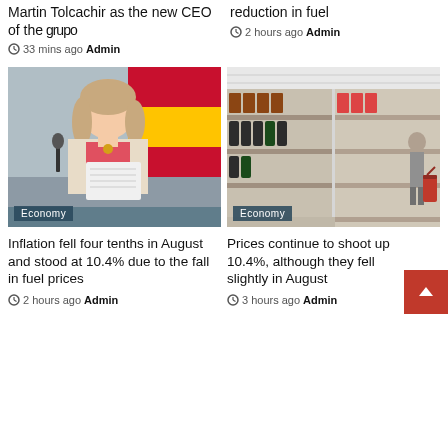Martin Tolcachir as the new CEO of the grupo
33 mins ago Admin
reduction in fuel
2 hours ago Admin
[Figure (photo): Woman in beige jacket holding papers at a press conference podium, Spanish flag in background. Economy badge overlay.]
[Figure (photo): Empty supermarket shelves aisle with shopper in background. Economy badge overlay.]
Inflation fell four tenths in August and stood at 10.4% due to the fall in fuel prices
2 hours ago Admin
Prices continue to shoot up 10.4%, although they fell slightly in August
3 hours ago Admin